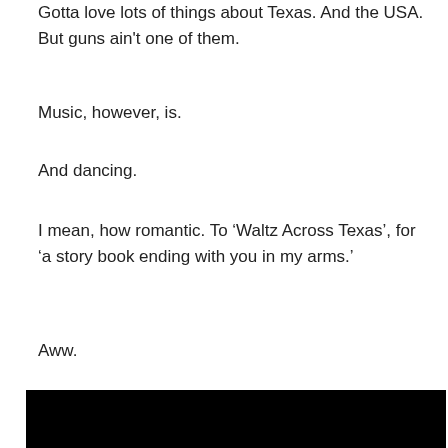Gotta love lots of things about Texas. And the USA. But guns ain't one of them.
Music, however, is.
And dancing.
I mean, how romantic. To ‘Waltz Across Texas’, for ‘a story book ending with you in my arms.’
Aww.
[Figure (photo): A dark photograph showing a sign for 'Lead to Ice Dance' (partially visible) on a golden/tan background, surrounded by near-total darkness.]